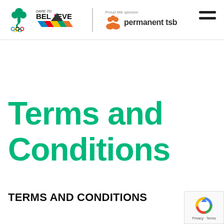[Figure (logo): Olympic Council of Ireland logo with shamrock and Olympic rings, alongside 'Dare to Believe' campaign logo with colourful chevron stripes, separated by a vertical divider from 'Proud title sponsor permanent tsb' logo with orange people icon]
Terms and Conditions
TERMS AND CONDITIONS